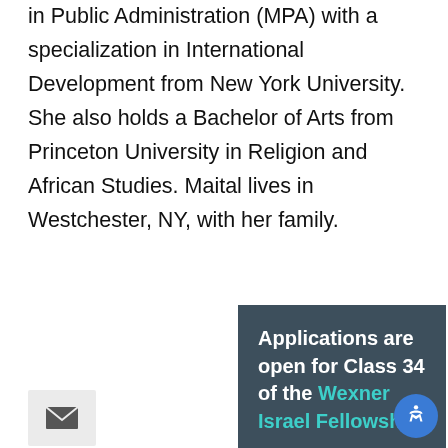in Public Administration (MPA) with a specialization in International Development from New York University. She also holds a Bachelor of Arts from Princeton University in Religion and African Studies. Maital lives in Westchester, NY, with her family.
[Figure (other): Email envelope icon in a light grey box]
Other posts
Wexner Gra... brot (Class 23) is the Di... Fellowship at The Wexn... o developing ... ield
[Figure (infographic): Dark teal popup overlay with bold white and teal text: 'Applications are open for Class 34 of the Wexner Israel Fellowship.' with a close X button in teal.]